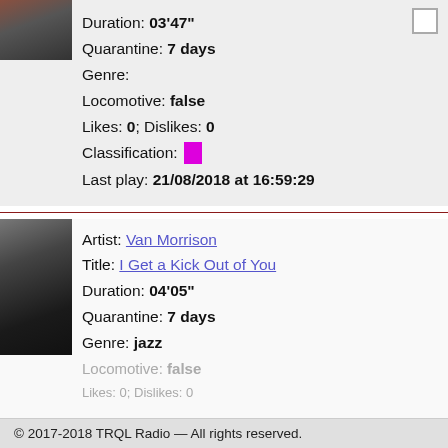[Figure (photo): Black and white thumbnail photo, upper left corner of first track entry]
Duration: 03'47"
Quarantine: 7 days
Genre:
Locomotive: false
Likes: 0; Dislikes: 0
Classification: [magenta box]
Last play: 21/08/2018 at 16:59:29
[Figure (photo): Black and white portrait photo of Van Morrison wearing a hat]
Artist: Van Morrison
Title: I Get a Kick Out of You
Duration: 04'05"
Quarantine: 7 days
Genre: jazz
Locomotive: false
Likes: 0; Dislikes: 0
© 2017-2018 TRQL Radio — All rights reserved.